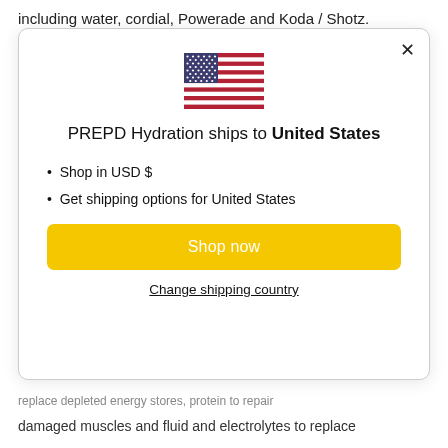including water, cordial, Powerade and Koda / Shotz.
[Figure (illustration): US flag SVG illustration inside a modal dialog]
PREPD Hydration ships to United States
Shop in USD $
Get shipping options for United States
Shop now
Change shipping country
replace depleted energy stores, protein to repair
damaged muscles and fluid and electrolytes to replace